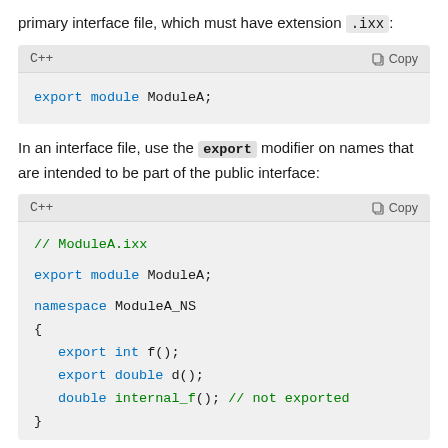primary interface file, which must have extension .ixx:
[Figure (screenshot): Code block labeled C++ with a Copy button. Contains: export module ModuleA;]
In an interface file, use the export modifier on names that are intended to be part of the public interface:
[Figure (screenshot): Code block labeled C++ with a Copy button. Contains: // ModuleA.ixx
export module ModuleA;
namespace ModuleA_NS
{
    export int f();
    export double d();
    double internal_f(); // not exported
}]